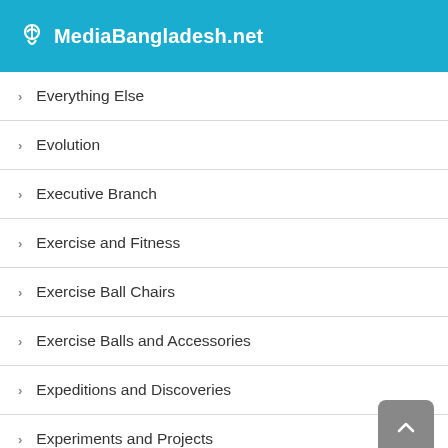MediaBangladesh.net
Everything Else
Evolution
Executive Branch
Exercise and Fitness
Exercise Ball Chairs
Exercise Balls and Accessories
Expeditions and Discoveries
Experiments and Projects
Experiments, Instruments and Measurement
Explore the World